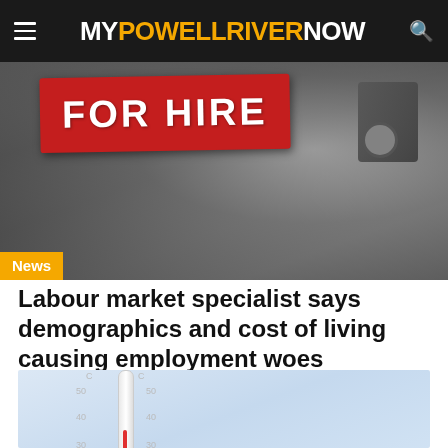MY POWELL RIVER NOW
[Figure (photo): A red 'FOR HIRE' sign mounted on a dark metal surface, with a News badge overlay in the bottom left corner]
Labour market specialist says demographics and cost of living causing employment woes
[Figure (photo): A thermometer showing temperature scales in Celsius, photographed against a light blue sky background]